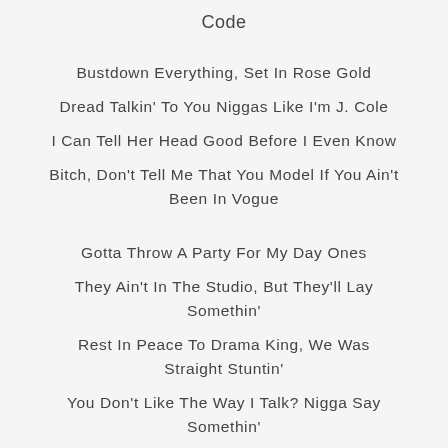Code
Bustdown Everything, Set In Rose Gold
Dread Talkin' To You Niggas Like I'm J. Cole
I Can Tell Her Head Good Before I Even Know
Bitch, Don't Tell Me That You Model If You Ain't Been In Vogue
Gotta Throw A Party For My Day Ones
They Ain't In The Studio, But They'll Lay Somethin'
Rest In Peace To Drama King, We Was Straight Stuntin'
You Don't Like The Way I Talk? Nigga Say Somethin'